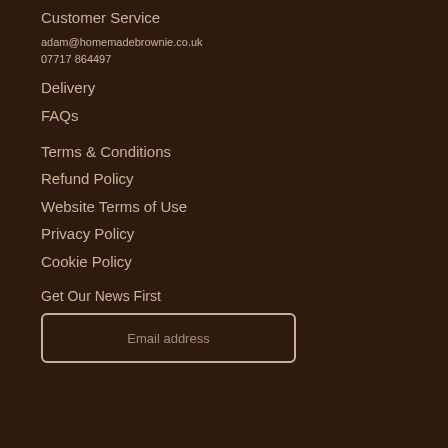Customer Service
adam@homemadebrownie.co.uk
07717 864497
Delivery
FAQs
Terms & Conditions
Refund Policy
Website Terms of Use
Privacy Policy
Cookie Policy
Get Our News First
Email address